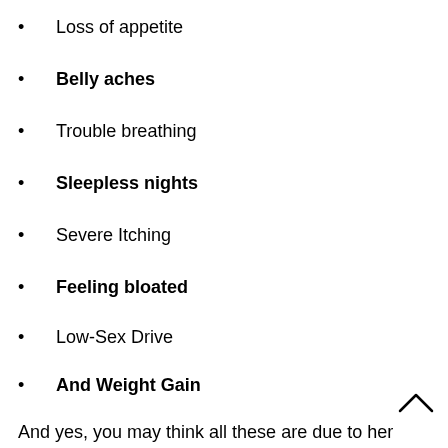Loss of appetite
Belly aches
Trouble breathing
Sleepless nights
Severe Itching
Feeling bloated
Low-Sex Drive
And Weight Gain
Among many, many other symptoms
And yes, you may think all these are due to her